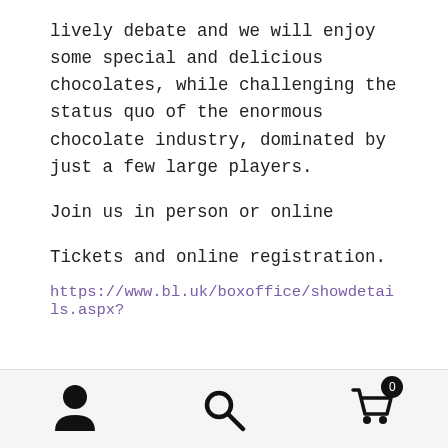lively debate and we will enjoy some special and delicious chocolates, while challenging the status quo of the enormous chocolate industry, dominated by just a few large players.
Join us in person or online
Tickets and online registration.
https://www.bl.uk/boxoffice/showdetails.aspx?
ℹ Anonymised Analytics Opt Out in Privacy Policy
Dismiss